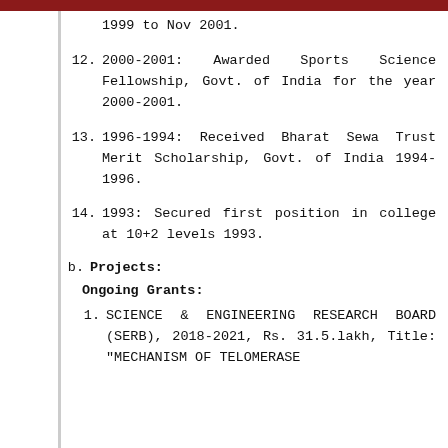1999 to Nov 2001.
12. 2000-2001: Awarded Sports Science Fellowship, Govt. of India for the year 2000-2001.
13. 1996-1994: Received Bharat Sewa Trust Merit Scholarship, Govt. of India 1994-1996.
14. 1993: Secured first position in college at 10+2 levels 1993.
b. Projects:
Ongoing Grants:
1. SCIENCE & ENGINEERING RESEARCH BOARD (SERB), 2018-2021, Rs. 31.5.lakh, Title: "MECHANISM OF TELOMERASE